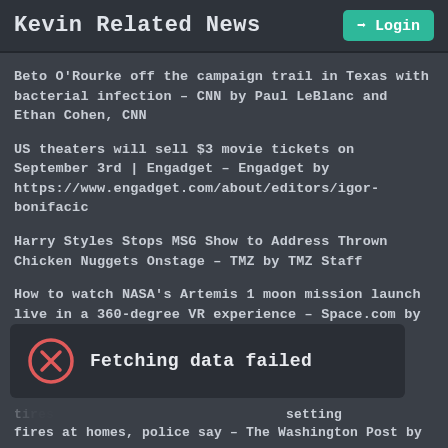Kevin Related News
Beto O'Rourke off the campaign trail in Texas with bacterial infection – CNN by Paul LeBlanc and Ethan Cohen, CNN
US theaters will sell $3 movie tickets on September 3rd | Engadget – Engadget by https://www.engadget.com/about/editors/igor-bonifacic
Harry Styles Stops MSG Show to Address Thrown Chicken Nuggets Onstage – TMZ by TMZ Staff
How to watch NASA's Artemis 1 moon mission launch live in a 360-degree VR experience – Space.com by Elizabeth...
[Figure (screenshot): Error notification overlay showing a red X circle icon and text 'Fetching data failed' on dark background]
setting fires at homes, police say – The Washington Post by